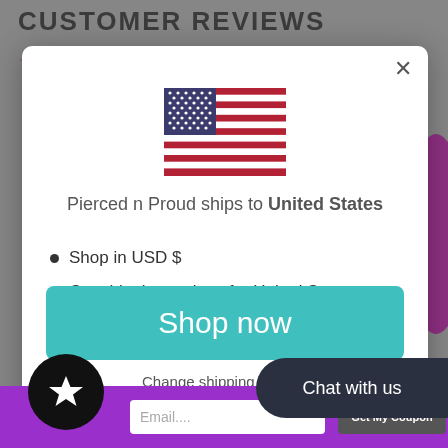CUSTOMER REVIEWS
[Figure (illustration): Five pink/purple star icons representing a 5-star rating]
[Figure (illustration): A modal popup dialog with a US flag, shipping info, shop now button, and change shipping country link]
Pierced n Proud ships to United States
Shop in USD $
Get shipping options for United States
Shop now
Change shipping country
Chat with us
Email....
Get My Coupon